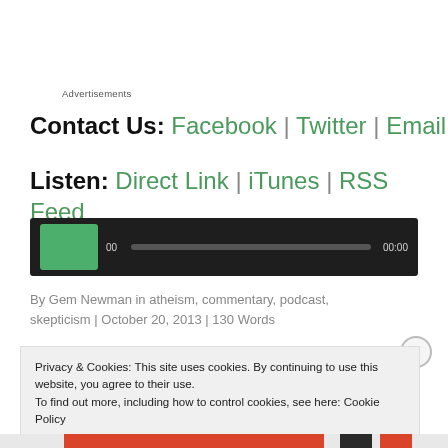Advertisements
Contact Us: Facebook | Twitter | Email
Listen: Direct Link | iTunes | RSS Feed
[Figure (other): Audio player widget with dark background, green play button, progress bar, and time display showing 00:00]
By Gem Newman in atheism, commentary, podcast, skepticism | October 20, 2013 | 130 Words
Privacy & Cookies: This site uses cookies. By continuing to use this website, you agree to their use.
To find out more, including how to control cookies, see here: Cookie Policy
Close and accept